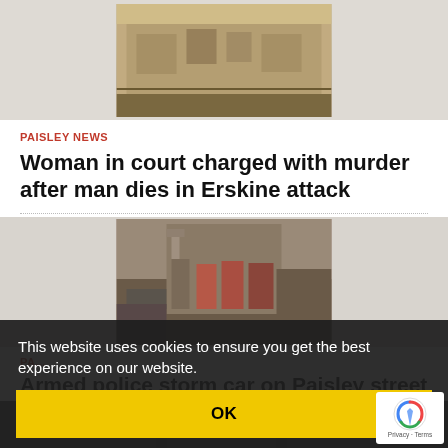[Figure (photo): Photo of a stone building exterior, possibly a court or civic building in Scotland]
PAISLEY NEWS
Woman in court charged with murder after man dies in Erskine attack
[Figure (photo): Photo of a Scottish town street with stone tenement buildings, clock tower visible in background]
PA...
Armed police storm car on Paisley street
This website uses cookies to ensure you get the best experience on our website.
OK
[Figure (photo): Partially visible third article photo at bottom of page]